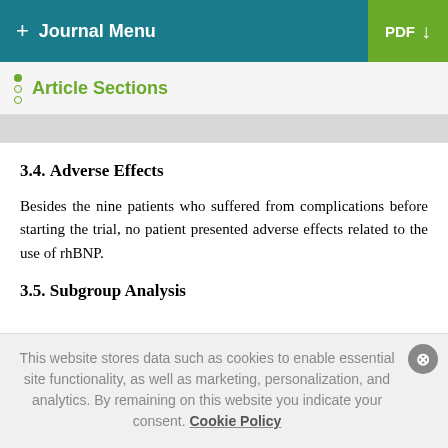+ Journal Menu  PDF ↓
Article Sections
3.4. Adverse Effects
Besides the nine patients who suffered from complications before starting the trial, no patient presented adverse effects related to the use of rhBNP.
3.5. Subgroup Analysis
This website stores data such as cookies to enable essential site functionality, as well as marketing, personalization, and analytics. By remaining on this website you indicate your consent. Cookie Policy